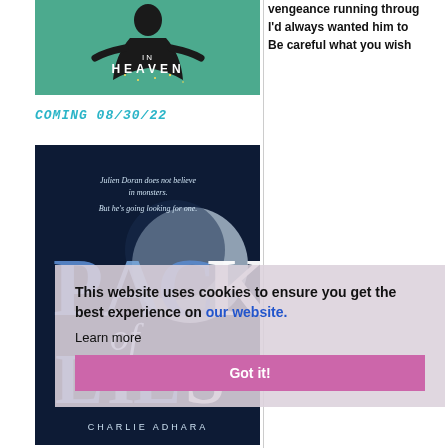[Figure (illustration): Book cover with dark figure and text IN HEAVEN on green background]
vengeance running through I'd always wanted him to Be careful what you wish
COMING 08/30/22
[Figure (illustration): Book cover: Pack of Lies by Charlie Adhara. Dark blue cover with large moon, title text in blue/white, tagline Julien Doran does not believe in monsters. But he's going looking for one.]
This website uses cookies to ensure you get the best experience on our website.
Learn more
Got it!